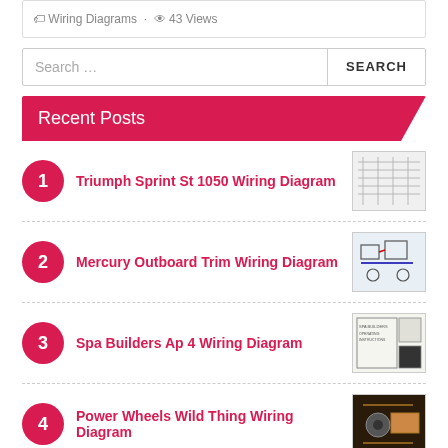🏷 Wiring Diagrams · 👁 43 Views
Search …
Recent Posts
1 Triumph Sprint St 1050 Wiring Diagram
2 Mercury Outboard Trim Wiring Diagram
3 Spa Builders Ap 4 Wiring Diagram
4 Power Wheels Wild Thing Wiring Diagram
5 2015 Mustang Wiring Harness Diagram